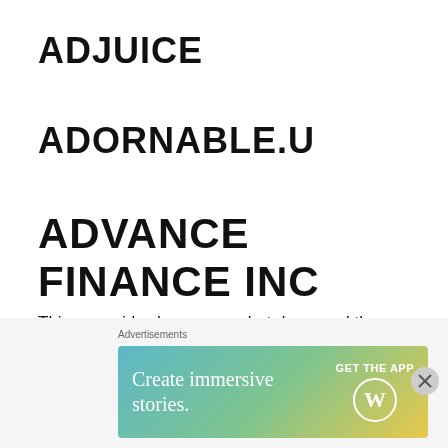ADJUICE
ADORNABLE.U
ADVANCE FINANCE INC
This pyramid scheme was shut down and the owner sent to prison for 5 years. Gary A. Eisenberg was the owner who conned a lot of his family and friends. Los Angeles Times news report here. His scheme involved getting an ‘investment’ from people and he used the
[Figure (other): Advertisement banner: 'Create immersive stories. GET THE APP' with WordPress logo, gradient background (teal to yellow-green)]